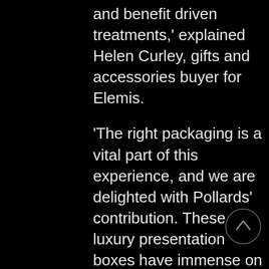and benefit driven treatments,' explained Helen Curley, gifts and accessories buyer for Elemis.
'The right packaging is a vital part of this experience, and we are delighted with Pollards' contribution. These luxury presentation boxes have immense on shelf impact and consumer appeal, while being practical and sustainable, thereby ideally reflecting our key brand values.'
The boxes for the Day and Night Duo and Aqua Mask feature a fluid wave pattern on the front, inspired by the Elemis Ultra Smart campaign imagery to create a recognisable link for